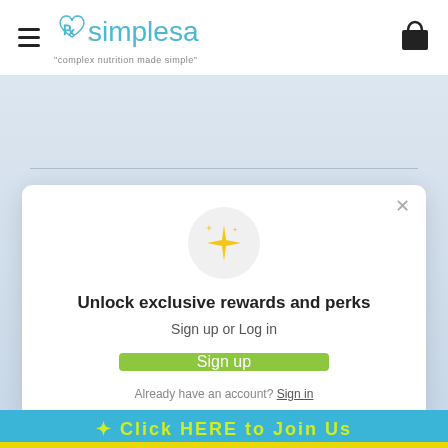[Figure (logo): Simplesa logo with heart/Rx icon and tagline 'complex nutrition made simple']
[Figure (screenshot): Modal popup with sparkle emoji, heading 'Unlock exclusive rewards and perks', Sign up or Log in text, green Sign up button, and 'Already have an account? Sign in' link]
Unlock exclusive rewards and perks
Sign up or Log in
Sign up
Already have an account? Sign in